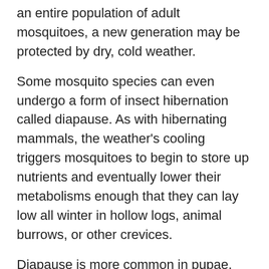an entire population of adult mosquitoes, a new generation may be protected by dry, cold weather.
Some mosquito species can even undergo a form of insect hibernation called diapause. As with hibernating mammals, the weather's cooling triggers mosquitoes to begin to store up nutrients and eventually lower their metabolisms enough that they can lay low all winter in hollow logs, animal burrows, or other crevices.
Diapause is more common in pupae, which can survive beneath the surface of frozen water than adult mosquitoes. However, species native to temperate climates have evolved to be reasonably tolerant of cold. Some can even survive freezing temperatures.